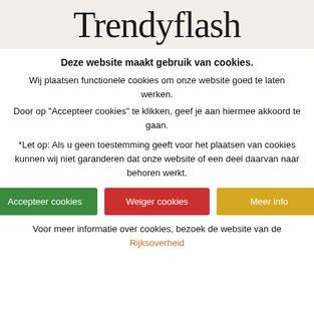Trendyflash
Deze website maakt gebruik van cookies.
Wij plaatsen functionele cookies om onze website goed te laten werken.
Door op "Accepteer cookies" te klikken, geef je aan hiermee akkoord te gaan.
*Let op: Als u geen toestemming geeft voor het plaatsen van cookies kunnen wij niet garanderen dat onze website of een deel daarvan naar behoren werkt.
Accepteer cookies
Weiger cookies
Meer info
Voor meer informatie over cookies, bezoek de website van de Rijksoverheid